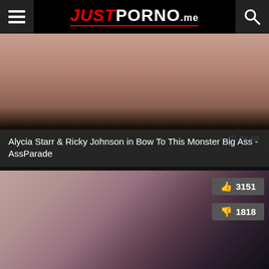JUST PORNO .me
[Figure (screenshot): Video thumbnail showing explicit adult content with duration badge showing 05:00]
Alycia Starr & Ricky Johnson in Bow To This Monster Big Ass - AssParade
[Figure (screenshot): Second video thumbnail showing explicit adult content with like count 3151 and dislike count 1818]